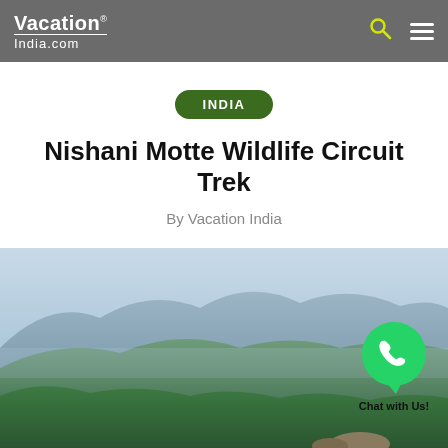VacationIndia.com
INDIA
Nishani Motte Wildlife Circuit Trek
By Vacation India
[Figure (photo): Aerial landscape view of green forested hills and mountains with hazy blue sky, taken from a high vantage point. A WhatsApp chat bubble with 'Chat with Us!' text overlays the bottom-right corner.]